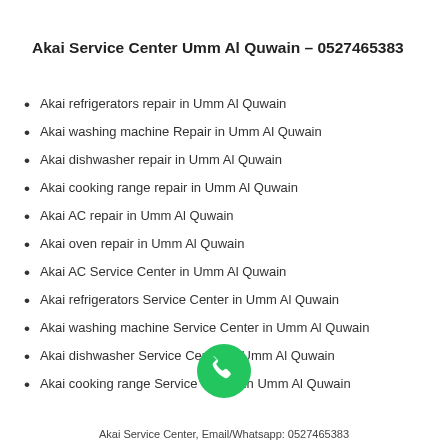Akai Service Center Umm Al Quwain – 0527465383
Akai refrigerators repair in Umm Al Quwain
Akai washing machine Repair in Umm Al Quwain
Akai dishwasher repair in Umm Al Quwain
Akai cooking range repair in Umm Al Quwain
Akai AC repair in Umm Al Quwain
Akai oven repair in Umm Al Quwain
Akai AC Service Center in Umm Al Quwain
Akai refrigerators Service Center in Umm Al Quwain
Akai washing machine Service Center in Umm Al Quwain
Akai dishwasher Service Center in Umm Al Quwain
Akai cooking range Service Center in Umm Al Quwain
[Figure (illustration): Green circular phone call button with white handset icon]
Akai Service Center, Email/Whatsapp: 0527465383